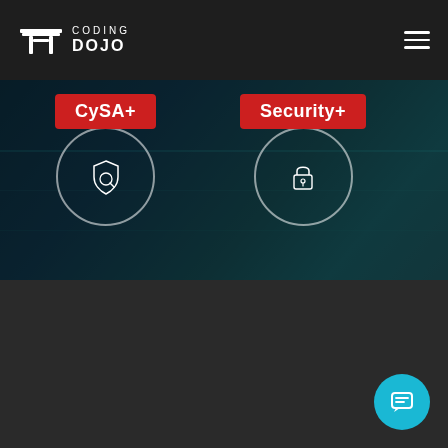[Figure (screenshot): Coding Dojo website screenshot showing navigation bar with logo and hamburger menu, hero section with CySA+ and Security+ certification badge buttons over a dark automotive background, and a dark lower section with a teal chat button.]
CODING DOJO
CySA+
Security+